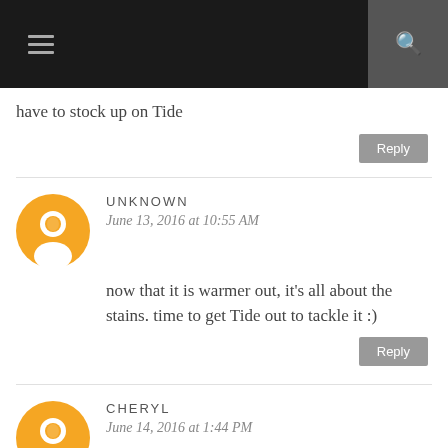≡  🔍
have to stock up on Tide
Reply
UNKNOWN
June 13, 2016 at 10:55 AM
now that it is warmer out, it's all about the stains. time to get Tide out to tackle it :)
Reply
CHERYL
June 14, 2016 at 1:44 PM